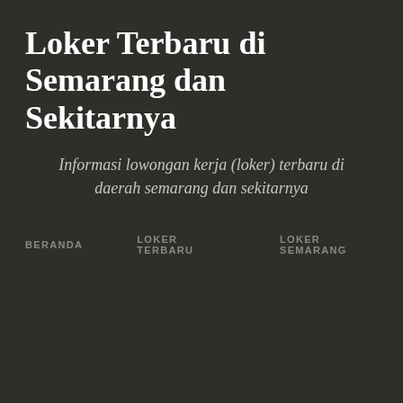Loker Terbaru di Semarang dan Sekitarnya
Informasi lowongan kerja (loker) terbaru di daerah semarang dan sekitarnya
BERANDA
LOKER TERBARU
LOKER SEMARANG